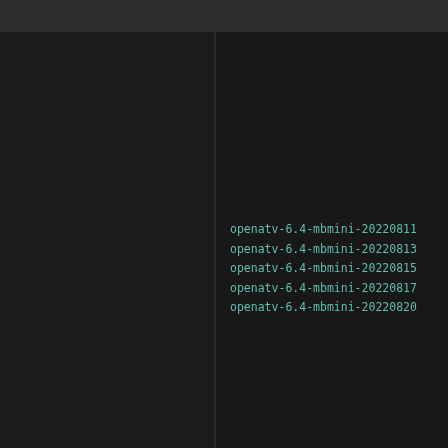openatv-6.4-mbmini-20220811
openatv-6.4-mbmini-20220813
openatv-6.4-mbmini-20220815
openatv-6.4-mbmini-20220817
openatv-6.4-mbmini-20220820